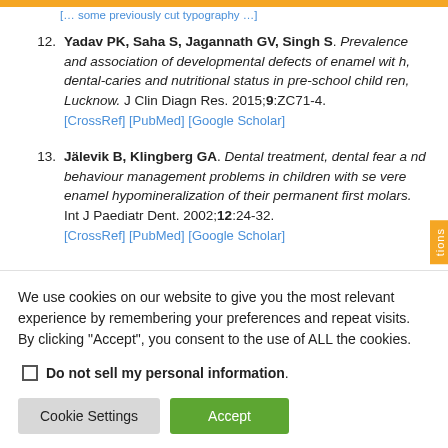12. Yadav PK, Saha S, Jagannath GV, Singh S. Prevalence and association of developmental defects of enamel with, dental-caries and nutritional status in pre-school children, Lucknow. J Clin Diagn Res. 2015;9:ZC71-4. [CrossRef] [PubMed] [Google Scholar]
13. Jälevik B, Klingberg GA. Dental treatment, dental fear and behaviour management problems in children with severe enamel hypomineralization of their permanent first molars. Int J Paediatr Dent. 2002;12:24-32. [CrossRef] [PubMed] [Google Scholar]
We use cookies on our website to give you the most relevant experience by remembering your preferences and repeat visits. By clicking "Accept", you consent to the use of ALL the cookies.
Do not sell my personal information
Cookie Settings  Accept